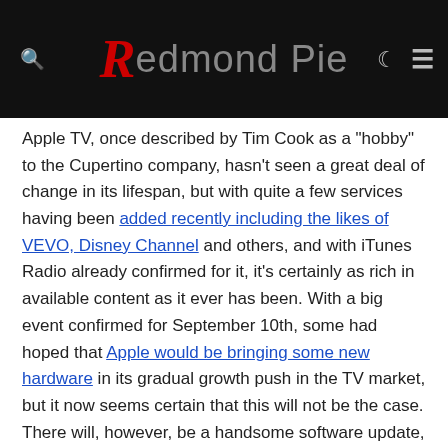Redmond Pie
Apple TV, once described by Tim Cook as a "hobby" to the Cupertino company, hasn't seen a great deal of change in its lifespan, but with quite a few services having been added recently including the likes of VEVO, Disney Channel and others, and with iTunes Radio already confirmed for it, it's certainly as rich in available content as it ever has been. With a big event confirmed for September 10th, some had hoped that Apple would be bringing some new hardware in its gradual growth push in the TV market, but it now seems certain that this will not be the case. There will, however, be a handsome software update, with a couple of interesting features. Details after the break!
One intriguing new addition to the fold allows users to take content bought on one Apple TV device and play it on